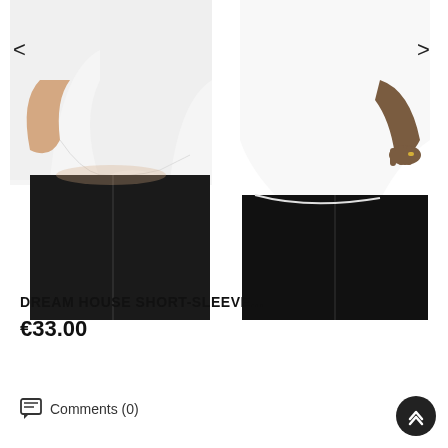[Figure (photo): Two models wearing white short-sleeve t-shirts with black pants, shown from torso down. Left model is a lighter-skinned woman with hands on hips, right model is a darker-skinned person shown from side/back.]
DREAM HOUSE SHORT-SLEEVE...
€33.00
Comments (0)